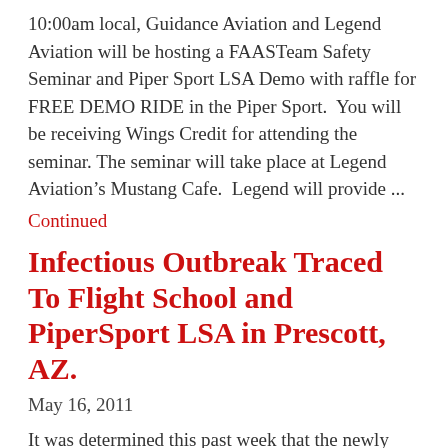10:00am local, Guidance Aviation and Legend Aviation will be hosting a FAASTeam Safety Seminar and Piper Sport LSA Demo with raffle for FREE DEMO RIDE in the Piper Sport.  You will be receiving Wings Credit for attending the seminar. The seminar will take place at Legend Aviation's Mustang Cafe.  Legend will provide ...
Continued
Infectious Outbreak Traced To Flight School and PiperSport LSA in Prescott, AZ.
May 16, 2011
It was determined this past week that the newly discovered outbreak of “PiperSport Perma-Smile” can be traced back to the flight school at Guidance Aviation and it’s PiperSport LSA (light sport aircraft) in Prescott, Arizona. According to the Director of the CSC (Center for Smile Control) Mai Ivory, “Apparently, pilots and